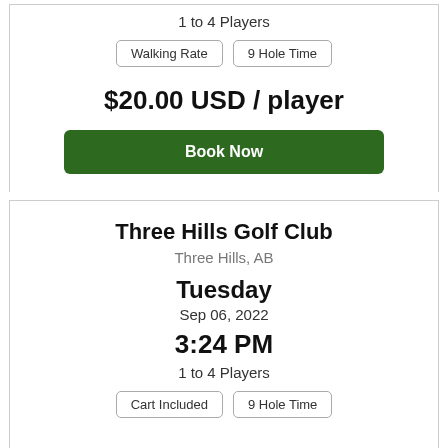1 to 4 Players
Walking Rate
9 Hole Time
$20.00 USD / player
Book Now
Three Hills Golf Club
Three Hills, AB
Tuesday
Sep 06, 2022
3:24 PM
1 to 4 Players
Cart Included
9 Hole Time